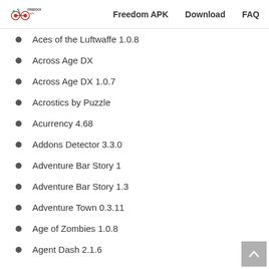Freedom APK  Download  FAQ
Aces of the Luftwaffe 1.0.8
Across Age DX
Across Age DX 1.0.7
Acrostics by Puzzle
Acurrency 4.68
Addons Detector 3.3.0
Adventure Bar Story 1
Adventure Bar Story 1.3
Adventure Town 0.3.11
Age of Zombies 1.0.8
Agent Dash 2.1.6